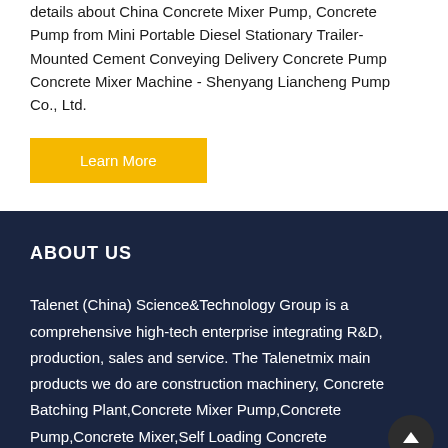details about China Concrete Mixer Pump, Concrete Pump from Mini Portable Diesel Stationary Trailer-Mounted Cement Conveying Delivery Concrete Pump Concrete Mixer Machine - Shenyang Liancheng Pump Co., Ltd.
Learn More
ABOUT US
Talenet (China) Science&Technology Group is a comprehensive high-tech enterprise integrating R&D, production, sales and service. The Talenetmix main products we do are construction machinery, Concrete Batching Plant,Concrete Mixer Pump,Concrete Pump,Concrete Mixer,Self Loading Concrete Mixer,Concrete Mixing Truck, etc.